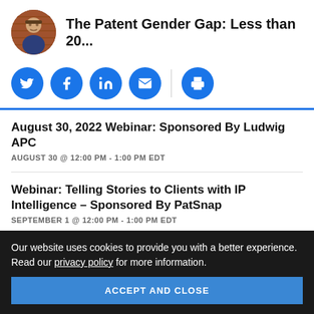The Patent Gender Gap: Less than 20...
[Figure (infographic): Social sharing icons: Twitter, Facebook, LinkedIn, Email (separated by divider), Print]
August 30, 2022 Webinar: Sponsored By Ludwig APC
AUGUST 30 @ 12:00 PM - 1:00 PM EDT
Webinar: Telling Stories to Clients with IP Intelligence – Sponsored By PatSnap
SEPTEMBER 1 @ 12:00 PM - 1:00 PM EDT
Our website uses cookies to provide you with a better experience. Read our privacy policy for more information.
ACCEPT AND CLOSE